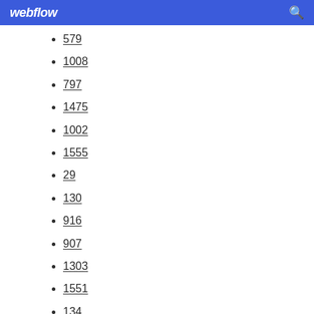webflow
579
1008
797
1475
1002
1555
29
130
916
907
1303
1551
134